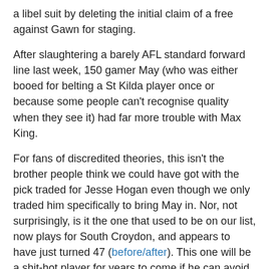a libel suit by deleting the initial claim of a free against Gawn for staging.
After slaughtering a barely AFL standard forward line last week, 150 gamer May (who was either booed for belting a St Kilda player once or because some people can't recognise quality when they see it) had far more trouble with Max King.
For fans of discredited theories, this isn't the brother people think we could have got with the pick traded for Jesse Hogan even though we only traded him specifically to bring May in. Nor, not surprisingly, is it the one that used to be on our list, now plays for South Croydon, and appears to have just turned 47 (before/after). This one will be a shit-hot player for years to come if he can avoid the same cavalcade of chaos that ruined Hogan. May still had a fine game, and by the standards of some of the defences we've had over the years he was practically Team of the Century material, but he looked more vulnerable when left one-on-one here than he has for a long time.
Given that we'd clearly been the better side in the first...